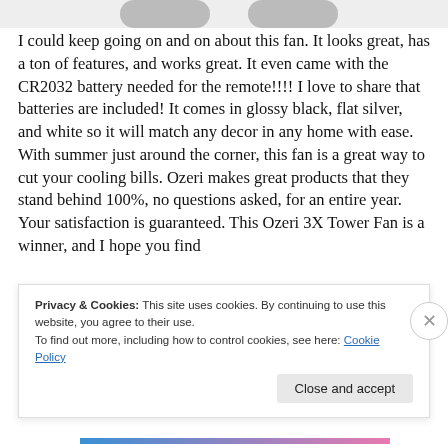[Figure (other): Partial view of two product images (fans) at top of page, cropped]
I could keep going on and on about this fan. It looks great, has a ton of features, and works great. It even came with the CR2032 battery needed for the remote!!!! I love to share that batteries are included! It comes in glossy black, flat silver, and white so it will match any decor in any home with ease. With summer just around the corner, this fan is a great way to cut your cooling bills. Ozeri makes great products that they stand behind 100%, no questions asked, for an entire year. Your satisfaction is guaranteed. This Ozeri 3X Tower Fan is a winner, and I hope you find
Privacy & Cookies: This site uses cookies. By continuing to use this website, you agree to their use.
To find out more, including how to control cookies, see here: Cookie Policy